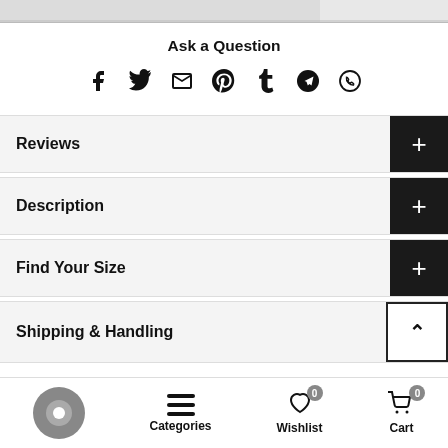[Figure (other): Top image bar (partial product image cropped)]
Ask a Question
[Figure (infographic): Social share icons: Facebook, Twitter, Email, Pinterest, Tumblr, Telegram, WhatsApp]
Reviews
Description
Find Your Size
Shipping & Handling
Categories  Wishlist 0  Cart 0